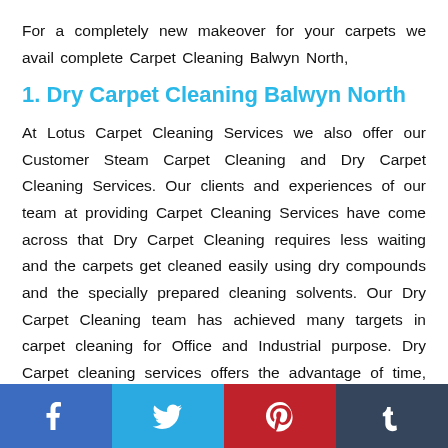For a completely new makeover for your carpets we avail complete Carpet Cleaning Balwyn North,
1. Dry Carpet Cleaning Balwyn North
At Lotus Carpet Cleaning Services we also offer our Customer Steam Carpet Cleaning and Dry Carpet Cleaning Services. Our clients and experiences of our team at providing Carpet Cleaning Services have come across that Dry Carpet Cleaning requires less waiting and the carpets get cleaned easily using dry compounds and the specially prepared cleaning solvents. Our Dry Carpet Cleaning team has achieved many targets in carpet cleaning for Office and Industrial purpose. Dry Carpet cleaning services offers the advantage of time, you will get the instant results